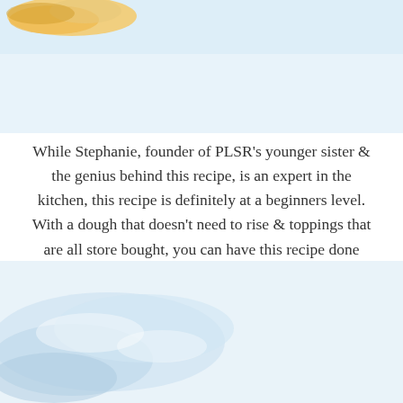[Figure (photo): Top portion of a food photo showing what appears to be a baked flatbread or pizza with golden toppings on a light background]
While Stephanie, founder of PLSR's younger sister & the genius behind this recipe, is an expert in the kitchen, this recipe is definitely at a beginners level. With a dough that doesn't need to rise & toppings that are all store bought, you can have this recipe done within a half hour from start to finish.
[Figure (photo): Bottom portion of a photo showing a light blue and white background with what appears to be flour or dough ingredients on a surface]